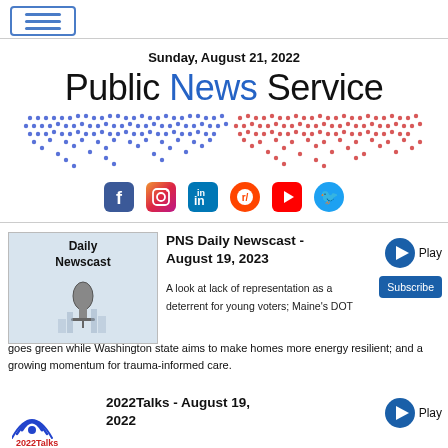Navigation menu button (hamburger)
Sunday, August 21, 2022
Public News Service
[Figure (illustration): Dot-pattern world map in blue and red dots, representing global news coverage]
[Figure (illustration): Social media icons: Facebook, Instagram, LinkedIn, Reddit, YouTube, Twitter]
[Figure (photo): Daily Newscast thumbnail showing a microphone and city skyline with text 'Daily Newscast']
PNS Daily Newscast - August 19, 2023
A look at lack of representation as a deterrent for young voters; Maine's DOT goes green while Washington state aims to make homes more energy resilient; and a growing momentum for trauma-informed care.
[Figure (logo): 2022Talks logo with radio wave icon]
2022Talks - August 19, 2022